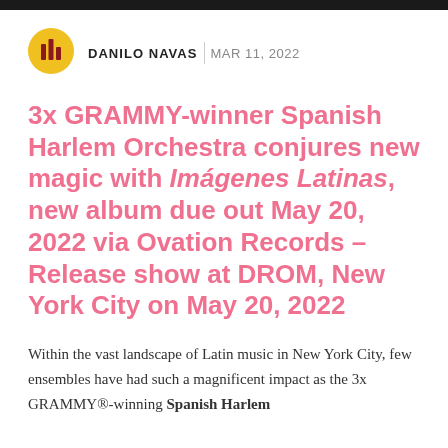[Figure (logo): Circular logo with yellow background and dark red vertical bar chart style graphic in center, belonging to a music journalism publication]
DANILO NAVAS | MAR 11, 2022
3x GRAMMY-winner Spanish Harlem Orchestra conjures new magic with Imágenes Latinas, new album due out May 20, 2022 via Ovation Records – Release show at DROM, New York City on May 20, 2022
Within the vast landscape of Latin music in New York City, few ensembles have had such a magnificent impact as the 3x GRAMMY®-winning Spanish Harlem